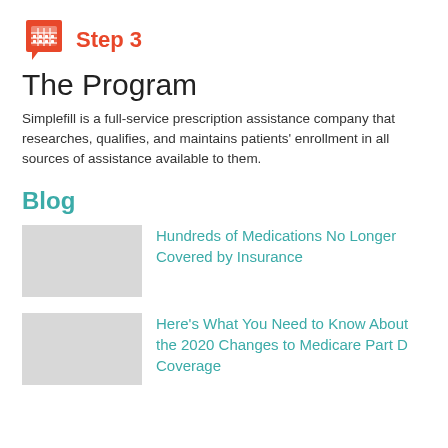[Figure (logo): Red calendar icon with white grid, pointing downward like a speech bubble, used as a step indicator icon for Step 3]
Step 3
The Program
Simplefill is a full-service prescription assistance company that researches, qualifies, and maintains patients' enrollment in all sources of assistance available to them.
Blog
[Figure (photo): Blog thumbnail image placeholder for 'Hundreds of Medications No Longer Covered by Insurance']
Hundreds of Medications No Longer Covered by Insurance
[Figure (photo): Blog thumbnail image placeholder for 'Here's What You Need to Know About the 2020 Changes to Medicare Part D Coverage']
Here's What You Need to Know About the 2020 Changes to Medicare Part D Coverage